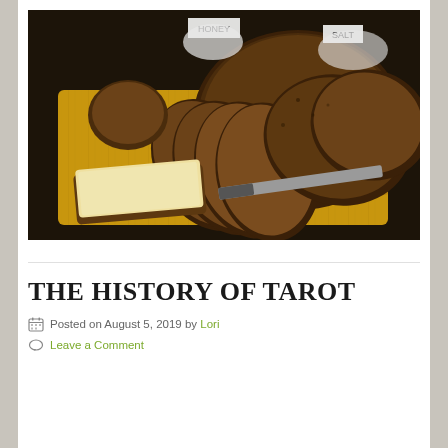[Figure (photo): Photograph of sliced dark whole-grain bread on a wooden cutting board, with a knife and a slice spread with butter. Small labeled bowls of honey and salt are visible in the background.]
THE HISTORY OF TAROT
Posted on August 5, 2019 by Lori
Leave a Comment